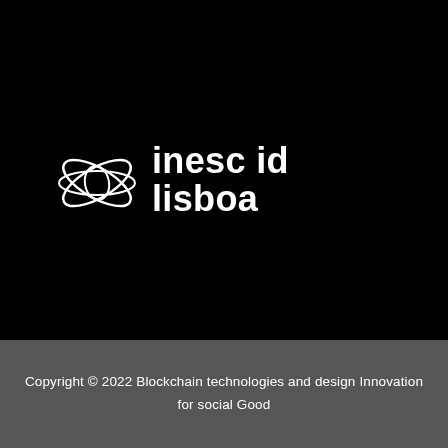[Figure (logo): INESC ID Lisboa logo: white orbital/ring graphic symbol on left, with bold white text 'inesc id' on first line and 'lisboa' on second line, displayed on black background]
Copyright © 2022 Blockchain technologies and design Innovation for social Good